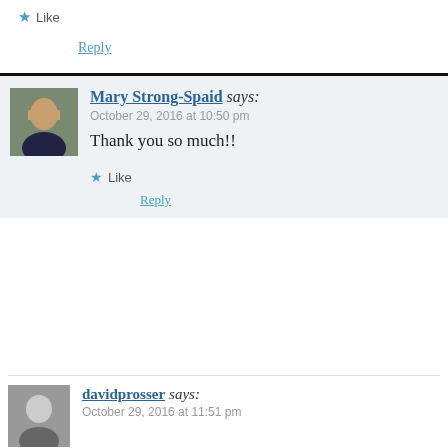Like
Reply
Mary Strong-Spaid says: October 29, 2016 at 10:50 pm
Thank you so much!!
Like
Reply
davidprosser says: October 29, 2016 at 11:51 pm
Wishing you a very speedy recovery Mary. xxx Huge Hugs xxx